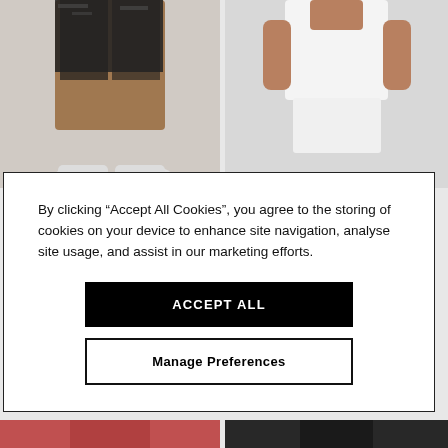[Figure (photo): Two product photos in background: left shows person wearing black patterned bike shorts with white sneakers on light grey background; right shows person wearing white t-shirt and white shorts on light grey background. Bottom strip shows two more product photos partially visible.]
By clicking “Accept All Cookies”, you agree to the storing of cookies on your device to enhance site navigation, analyse site usage, and assist in our marketing efforts.
ACCEPT ALL
Manage Preferences